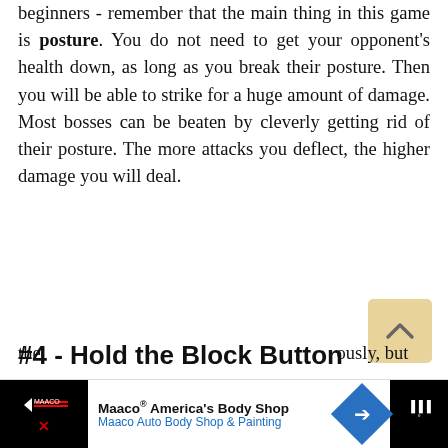beginners - remember that the main thing in this game is posture. You do not need to get your opponent's health down, as long as you break their posture. Then you will be able to strike for a huge amount of damage. Most bosses can be beaten by cleverly getting rid of their posture. The more attacks you deflect, the higher damage you will deal.
#4 - Hold the Block Button
One of the most important tips for not dying in Sekiro: Shadows Die Twice is just holding down the [cut off] ously, but mo[cut off] ve able to